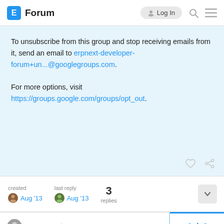E Forum | Log In
To unsubscribe from this group and stop receiving emails from it, send an email to erpnext-developer-forum+un...@googlegroups.com.

For more options, visit https://groups.google.com/groups/opt_out.
created Aug '13  last reply Aug '13  3 replies
nabinhait